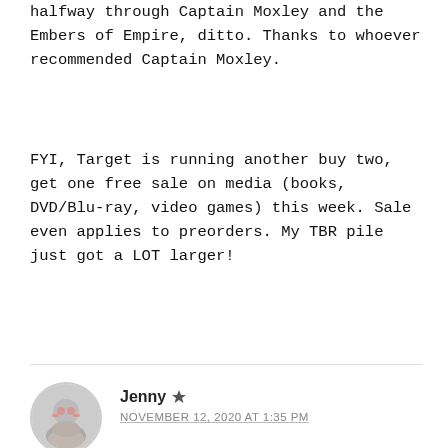halfway through Captain Moxley and the Embers of Empire, ditto. Thanks to whoever recommended Captain Moxley.
FYI, Target is running another buy two, get one free sale on media (books, DVD/Blu-ray, video games) this week. Sale even applies to preorders. My TBR pile just got a LOT larger!
[Figure (other): Like button with heart icon showing +8 likes, inside a rounded rectangle border]
Jenny  NOVEMBER 12, 2020 AT 1:35 PM